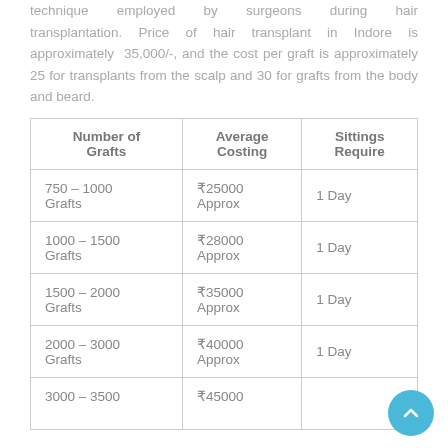technique employed by surgeons during hair transplantation. Price of hair transplant in Indore is approximately 35,000/-, and the cost per graft is approximately 25 for transplants from the scalp and 30 for grafts from the body and beard.
| Number of Grafts | Average Costing | Sittings Require |
| --- | --- | --- |
| 750 – 1000 Grafts | ₹25000 Approx | 1 Day |
| 1000 – 1500 Grafts | ₹28000 Approx | 1 Day |
| 1500 – 2000 Grafts | ₹35000 Approx | 1 Day |
| 2000 – 3000 Grafts | ₹40000 Approx | 1 Day |
| 3000 – 3500 Grafts | ₹45000 … |  |